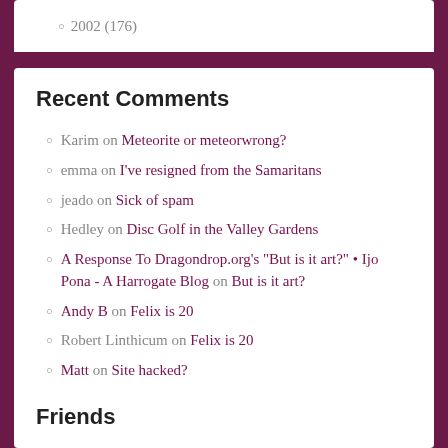2002 (176)
Recent Comments
Karim on Meteorite or meteorwrong?
emma on I've resigned from the Samaritans
jeado on Sick of spam
Hedley on Disc Golf in the Valley Gardens
A Response To Dragondrop.org's "But is it art?" • Ijo Pona - A Harrogate Blog on But is it art?
Andy B on Felix is 20
Robert Linthicum on Felix is 20
Matt on Site hacked?
Friends
Abbey Shakespeare Players
artists.ltd.uk
Bone Carvings